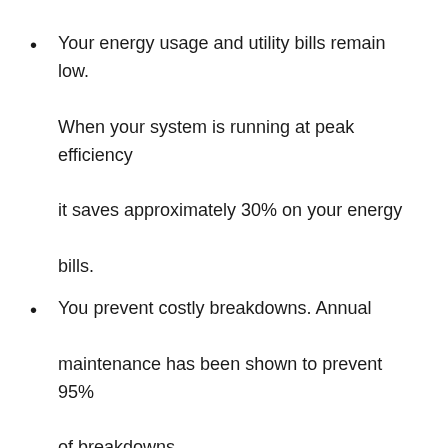Your energy usage and utility bills remain low. When your system is running at peak efficiency it saves approximately 30% on your energy bills.
You prevent costly breakdowns. Annual maintenance has been shown to prevent 95% of breakdowns.
The life of your system is extended.
You remain protected under system
Your home is safer. HVAC maintenance can prevent your pipes from freezing while away